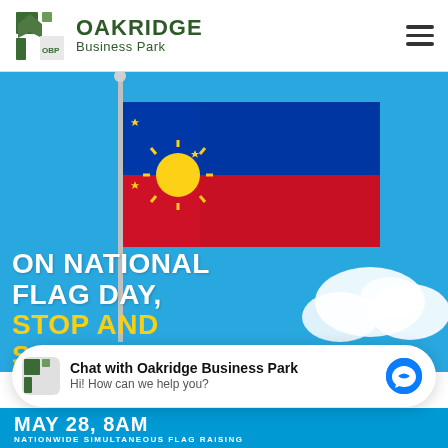[Figure (logo): Oakridge Business Park logo with green oak tree icon and text]
OAKRIDGE Business Park
[Figure (photo): Philippine flag waving on a flagpole against a blue sky with white clouds]
ON NATIONAL FLAG DAY, STOP AND SALUTE
Chat with Oakridge Business Park
Hi! How can we help you?
MAY 28, 8AM
NATIONWIDE SIMULTANEOUS FLAG RAISING